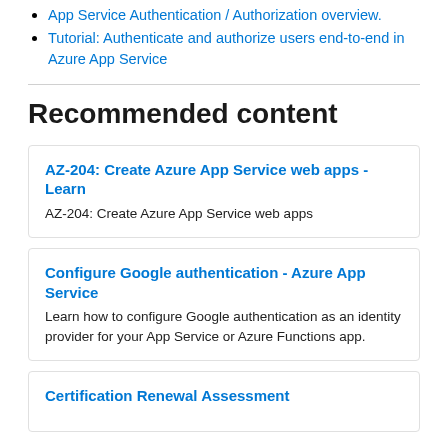App Service Authentication / Authorization overview.
Tutorial: Authenticate and authorize users end-to-end in Azure App Service
Recommended content
AZ-204: Create Azure App Service web apps - Learn
AZ-204: Create Azure App Service web apps
Configure Google authentication - Azure App Service
Learn how to configure Google authentication as an identity provider for your App Service or Azure Functions app.
Certification Renewal Assessment